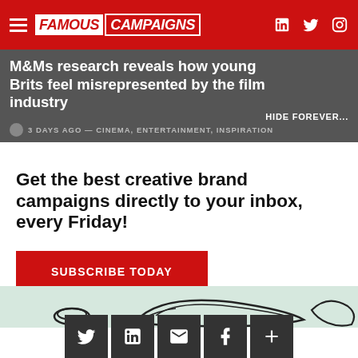FAMOUS CAMPAIGNS
M&Ms research reveals how young Brits feel misrepresented by the film industry
3 DAYS AGO — CINEMA, ENTERTAINMENT, INSPIRATION
HIDE FOREVER...
Get the best creative brand campaigns directly to your inbox, every Friday!
SUBSCRIBE TODAY
[Figure (illustration): M&M candy characters illustration in silhouette on light green background]
[Figure (infographic): Social share buttons: Twitter, LinkedIn, Email, Facebook, More]